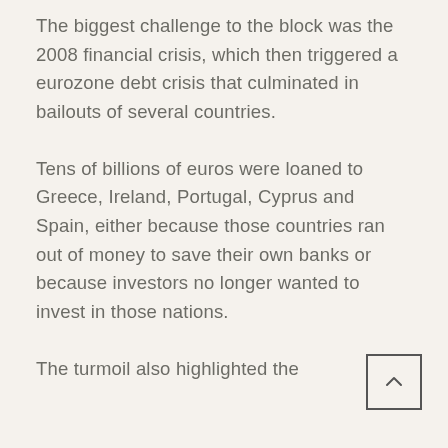The biggest challenge to the block was the 2008 financial crisis, which then triggered a eurozone debt crisis that culminated in bailouts of several countries.
Tens of billions of euros were loaned to Greece, Ireland, Portugal, Cyprus and Spain, either because those countries ran out of money to save their own banks or because investors no longer wanted to invest in those nations.
The turmoil also highlighted the